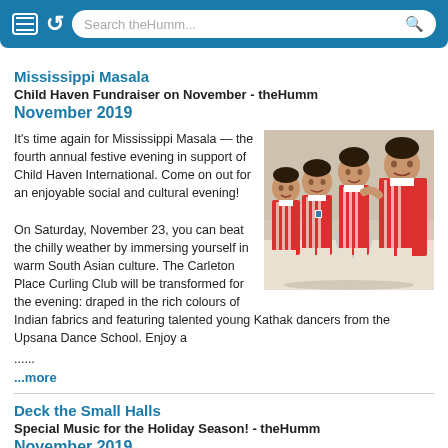Search theHumm...
Mississippi Masala
Child Haven Fundraiser on November - theHumm
November 2019
[Figure (photo): Four young boys in red and white school uniforms, smiling, one holding a metal plate]
It's time again for Mississippi Masala — the fourth annual festive evening in support of Child Haven International. Come on out for an enjoyable social and cultural evening!
On Saturday, November 23, you can beat the chilly weather by immersing yourself in warm South Asian culture. The Carleton Place Curling Club will be transformed for the evening: draped in the rich colours of Indian fabrics and featuring talented young Kathak dancers from the Upsana Dance School. Enjoy a
......
...more
Deck the Small Halls
Special Music for the Holiday Season! - theHumm
November 2019